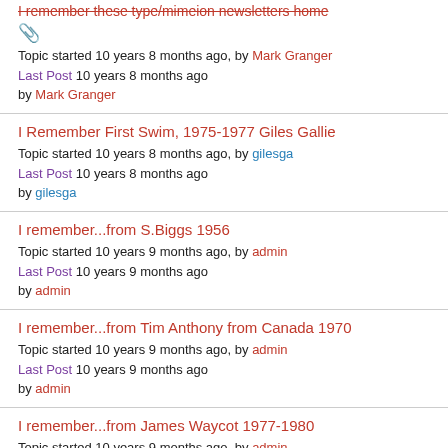I remember these type/mimeion newsletters home [attachment icon] Topic started 10 years 8 months ago, by Mark Granger Last Post 10 years 8 months ago by Mark Granger
I Remember First Swim, 1975-1977 Giles Gallie Topic started 10 years 8 months ago, by gilesga Last Post 10 years 8 months ago by gilesga
I remember...from S.Biggs 1956 Topic started 10 years 9 months ago, by admin Last Post 10 years 9 months ago by admin
I remember...from Tim Anthony from Canada 1970 Topic started 10 years 9 months ago, by admin Last Post 10 years 9 months ago by admin
I remember...from James Waycot 1977-1980 Topic started 10 years 9 months ago, by admin